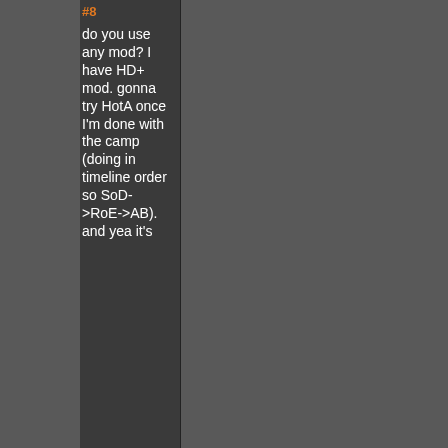#8
do you use any mod? I have HD+ mod. gonna try HotA once I'm done with the camp (doing in timeline order so SoD->RoE->AB). and yea it's